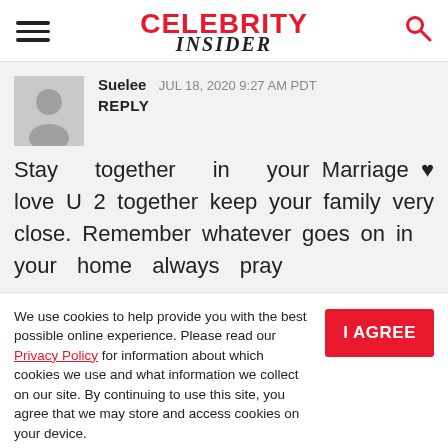CELEBRITY INSIDER
Suelee JUL 18, 2020 9:27 AM PDT
REPLY
Stay together in your Marriage ❤ love U 2 together keep your family very close. Remember whatever goes on in your home always pray
We use cookies to help provide you with the best possible online experience. Please read our Privacy Policy for information about which cookies we use and what information we collect on our site. By continuing to use this site, you agree that we may store and access cookies on your device.